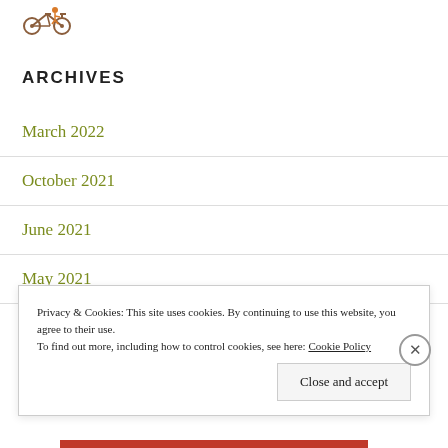[Figure (logo): Bicycle icon/logo in brown and orange colors]
ARCHIVES
March 2022
October 2021
June 2021
May 2021
Privacy & Cookies: This site uses cookies. By continuing to use this website, you agree to their use. To find out more, including how to control cookies, see here: Cookie Policy
Close and accept